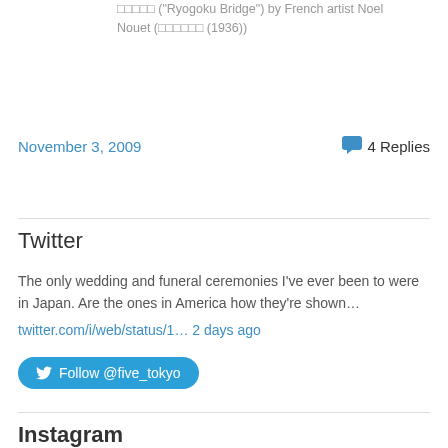□□□□□ ("Ryogoku Bridge") by French artist Noel Nouet (□□□□□□ (1936))
November 3, 2009
💬 4 Replies
Twitter
The only wedding and funeral ceremonies I've ever been to were in Japan. Are the ones in America how they're shown…
twitter.com/i/web/status/1… 2 days ago
Follow @five_tokyo
Instagram